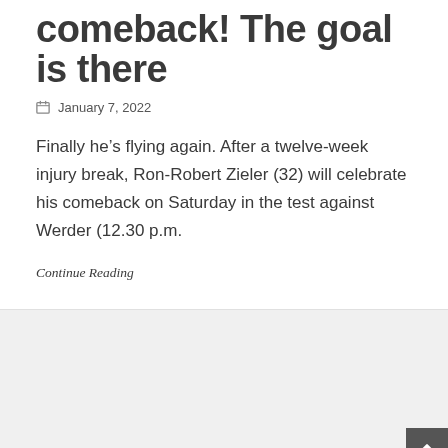comeback! The goal is there
January 7, 2022
Finally he’s flying again. After a twelve-week injury break, Ron-Robert Zieler (32) will celebrate his comeback on Saturday in the test against Werder (12.30 p.m.
Continue Reading